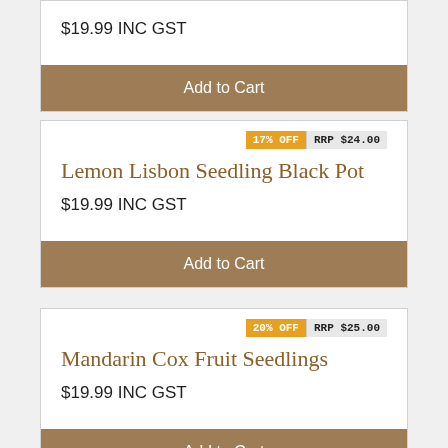$19.99 INC GST
Add to Cart
17% OFF  RRP $24.00
Lemon Lisbon Seedling Black Pot
$19.99 INC GST
Add to Cart
20% OFF  RRP $25.00
Mandarin Cox Fruit Seedlings
$19.99 INC GST
Add to Cart